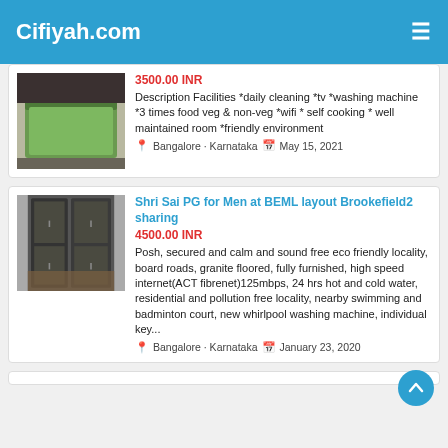Cifiyah.com
3500.00 INR
Description Facilities *daily cleaning *tv *washing machine *3 times food veg & non-veg *wifi * self cooking * well maintained room *friendly environment
Bangalore · Karnataka  May 15, 2021
Shri Sai PG for Men at BEML layout Brookefield2 sharing
4500.00 INR
Posh, secured and calm and sound free eco friendly locality, board roads, granite floored, fully furnished, high speed internet(ACT fibrenet)125mbps, 24 hrs hot and cold water, residential and pollution free locality, nearby swimming and badminton court, new whirlpool washing machine, individual key...
Bangalore · Karnataka  January 23, 2020